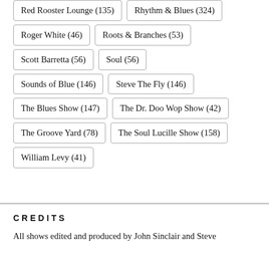Red Rooster Lounge (135)
Rhythm & Blues (324)
Roger White (46)
Roots & Branches (53)
Scott Barretta (56)
Soul (56)
Sounds of Blue (146)
Steve The Fly (146)
The Blues Show (147)
The Dr. Doo Wop Show (42)
The Groove Yard (78)
The Soul Lucille Show (158)
William Levy (41)
CREDITS
All shows edited and produced by John Sinclair and Steve